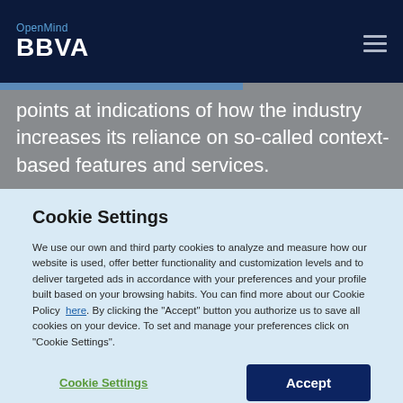OpenMind BBVA
points at indications of how the industry increases its reliance on so-called context-based features and services.
Cookie Settings
We use our own and third party cookies to analyze and measure how our website is used, offer better functionality and customization levels and to deliver targeted ads in accordance with your preferences and your profile built based on your browsing habits. You can find more about our Cookie Policy here. By clicking the "Accept" button you authorize us to save all cookies on your device. To set and manage your preferences click on "Cookie Settings".
Cookie Settings | Accept